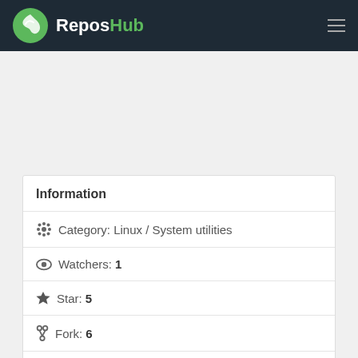ReposHub
Information
Category: Linux / System utilities
Watchers: 1
Star: 5
Fork: 6
Last update: Jan 9, 2022